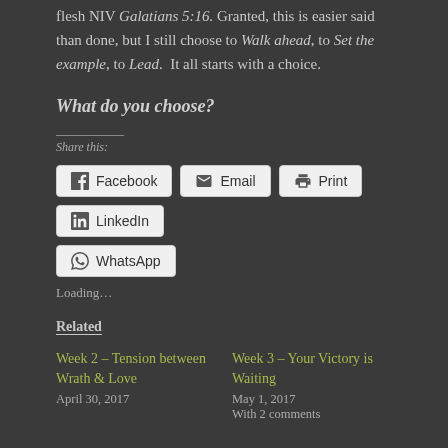flesh NIV Galatians 5:16. Granted, this is easier said than done, but I still choose to Walk ahead, to Set the example, to Lead. It all starts with a choice.
What do you choose?
Share this:
Facebook | Email | Print | LinkedIn | WhatsApp
Loading...
Related
Week 2 – Tension between Wrath & Love
April 30, 2017
Week 3 – Your Victory is Waiting
May 1, 2017
With 2 comments